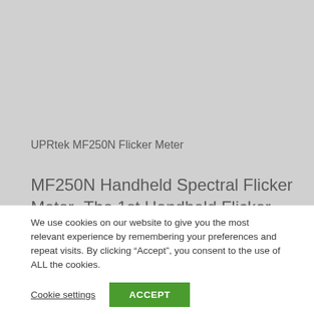[Figure (photo): Gray background area showing top portion of UPRtek MF250N Flicker Meter product page]
UPRtek MF250N Flicker Meter
MF250N Handheld Spectral Flicker Meter- The 1st Handheld Flicker Meter with spectral technology. It is also a FFT Spectrum Analyzer, Light wave Meter and Frequency Analyzer. It provides 3 major
We use cookies on our website to give you the most relevant experience by remembering your preferences and repeat visits. By clicking “Accept”, you consent to the use of ALL the cookies.
Cookie settings
ACCEPT